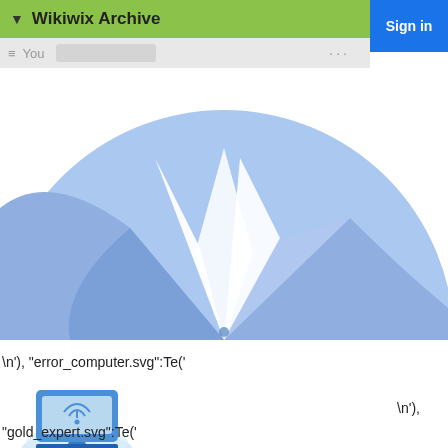▼ Wikiwix Archive
[Figure (screenshot): Browser navigation bar with menu icon, 'You', search field, ellipsis, and blue Sign in button]
[Figure (illustration): Large semicircular blue mountain/peak logo illustration with white star/peak shapes on a light blue background]
\n'), "error_computer.svg":Te('
[Figure (illustration): Error computer icon: a blue laptop/monitor with cloud and waves underneath, illustrating a network error]
\n'),
"gold_expert.svg":Te('